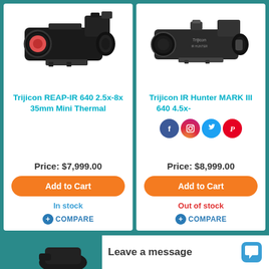[Figure (photo): Trijicon REAP-IR 640 thermal scope product photo]
Trijicon REAP-IR 640 2.5x-8x 35mm Mini Thermal
Price: $7,999.00
Add to Cart
In stock
COMPARE
[Figure (photo): Trijicon IR Hunter MARK III 640 thermal scope product photo]
Trijicon IR Hunter MARK III 640 4.5x-[...]me Thermal
[Figure (infographic): Social media icons: Facebook, Instagram, Twitter, Pinterest]
Price: $8,999.00
Add to Cart
Out of stock
COMPARE
Leave a message